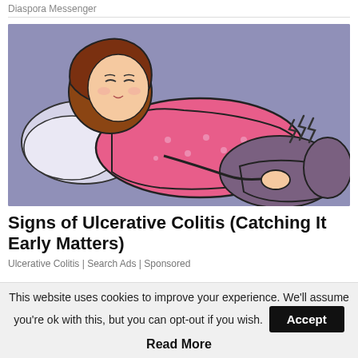Diaspora Messenger
[Figure (illustration): Cartoon illustration of a woman lying on her side on a pillow, wearing a pink top, holding her stomach in pain. Pain signals shown near her abdomen. Background is purple-blue.]
Signs of Ulcerative Colitis (Catching It Early Matters)
Ulcerative Colitis | Search Ads | Sponsored
This website uses cookies to improve your experience. We'll assume you're ok with this, but you can opt-out if you wish.
Accept
Read More